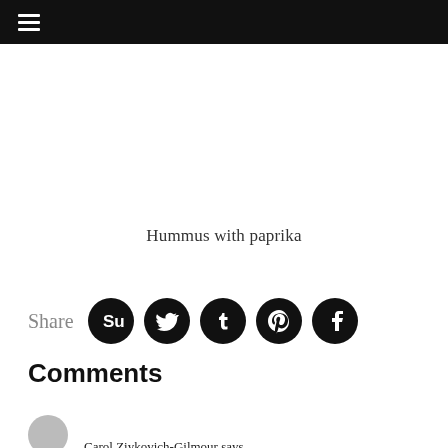≡
Hummus with paprika
Share
Comments
Carol Ziykovich-Gilmour says